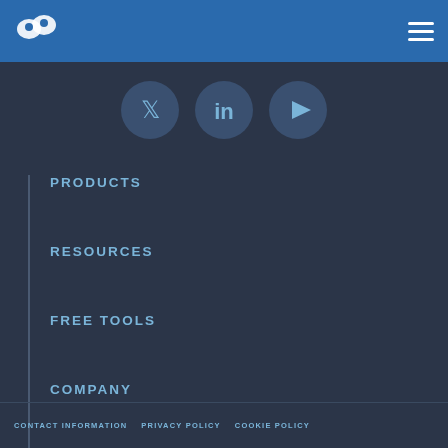[Figure (logo): White speech bubble / person icon logo on blue navigation bar]
[Figure (illustration): Three circular social media icons: Twitter (bird), LinkedIn (in), YouTube (play button) on dark background]
PRODUCTS
RESOURCES
FREE TOOLS
COMPANY
CONTACT INFORMATION   PRIVACY POLICY   COOKIE POLICY